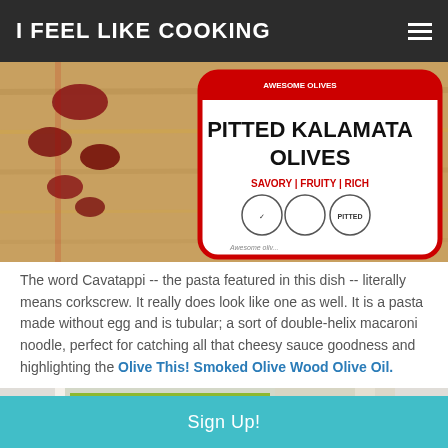I FEEL LIKE COOKING
[Figure (photo): Package of Pitted Kalamata Olives on a wooden cutting board with olives scattered nearby. Label reads: PITTED KALAMATA OLIVES, SAVORY | FRUITY | RICH, PITTED]
The word Cavatappi -- the pasta featured in this dish -- literally means corkscrew. It really does look like one as well. It is a pasta made without egg and is tubular; a sort of double-helix macaroni noodle, perfect for catching all that cheesy sauce goodness and highlighting the Olive This! Smoked Olive Wood Olive Oil.
[Figure (photo): Partial view of a bottle of Olive This! Smoked Olive Wood Olive Oil with a green olive tree design on the label]
Sign Up!